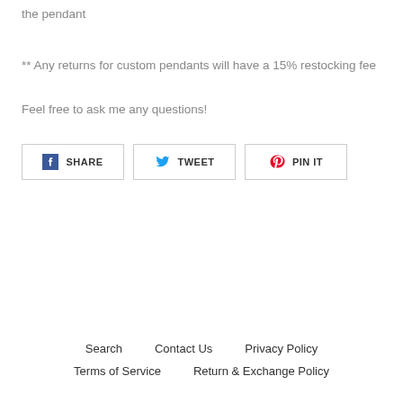the pendant
** Any returns for custom pendants will have a 15% restocking fee
Feel free to ask me any questions!
[Figure (other): Social share buttons: SHARE (Facebook), TWEET (Twitter), PIN IT (Pinterest)]
Search   Contact Us   Privacy Policy
Terms of Service   Return & Exchange Policy